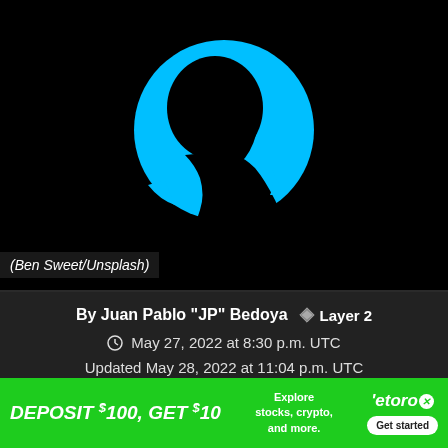[Figure (photo): Dark background with a cyan/blue circular glow and a black silhouette of a person's profile/head in front of the circle]
(Ben Sweet/Unsplash)
By Juan Pablo "JP" Bedoya   Layer 2
May 27, 2022 at 8:30 p.m. UTC
Updated May 28, 2022 at 11:04 p.m. UTC
[Figure (other): eToro advertisement banner: DEPOSIT $100, GET $10. Explore stocks, crypto, and more. eToro logo with Get started button.]